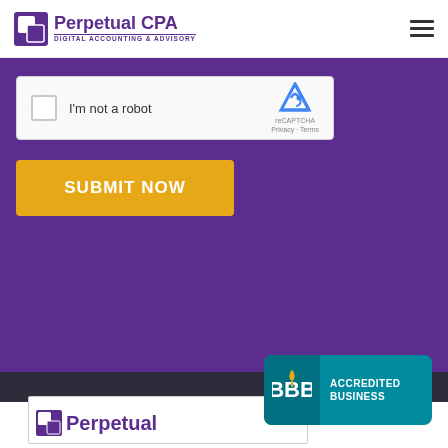[Figure (logo): Perpetual CPA logo with purple square icon and text 'Perpetual CPA DIGITAL ACCOUNTING & ADVISORY']
[Figure (screenshot): reCAPTCHA widget with checkbox, 'I'm not a robot' label, reCAPTCHA logo, and Privacy/Terms links]
SUBMIT NOW
[Figure (logo): BBB Accredited Business badge in teal with BBB logo]
[Figure (logo): Perpetual CPA logo partial at bottom]